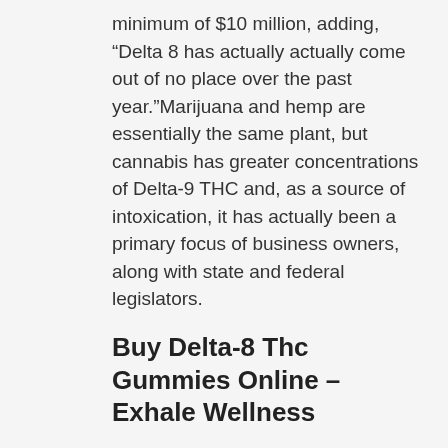minimum of $10 million, adding, “Delta 8 has actually actually come out of no place over the past year.”Marijuana and hemp are essentially the same plant, but cannabis has greater concentrations of Delta-9 THC and, as a source of intoxication, it has actually been a primary focus of business owners, along with state and federal legislators.
Buy Delta-8 Thc Gummies Online – Exhale Wellness
Downs said – DELTA 8 BLUE WIDOW. The bud is hemp sprayed